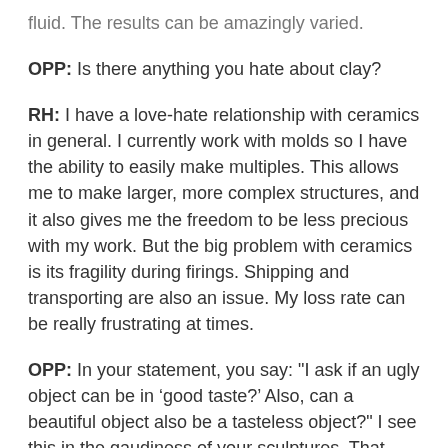fluid. The results can be amazingly varied.
OPP: Is there anything you hate about clay?
RH: I have a love-hate relationship with ceramics in general. I currently work with molds so I have the ability to easily make multiples. This allows me to make larger, more complex structures, and it also gives me the freedom to be less precious with my work. But the big problem with ceramics is its fragility during firings. Shipping and transporting are also an issue. My loss rate can be really frustrating at times.
OPP: In your statement, you say: "I ask if an ugly object can be in ‘good taste?’ Also, can a beautiful object also be a tasteless object?" I see this in the gaudiness of your sculptures. That they are gaudy is undeniable, and gaudiness is culturally associated with bad taste. And